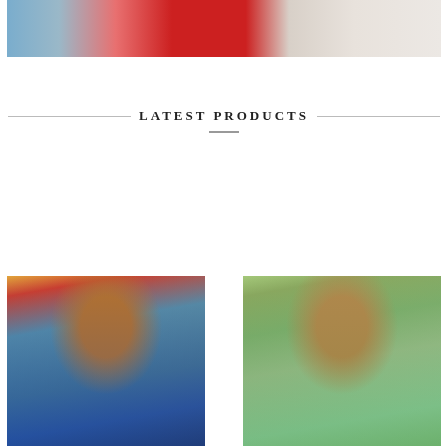[Figure (photo): Top banner photo showing a model in a red dress against a stone/wall background, cropped at top of page]
LATEST PRODUCTS
[Figure (photo): Woman in a sparkly blue V-neck dress at a carousel/fairground background]
[Figure (photo): Woman in a sparkly mint/teal one-shoulder dress outdoors with foliage background]